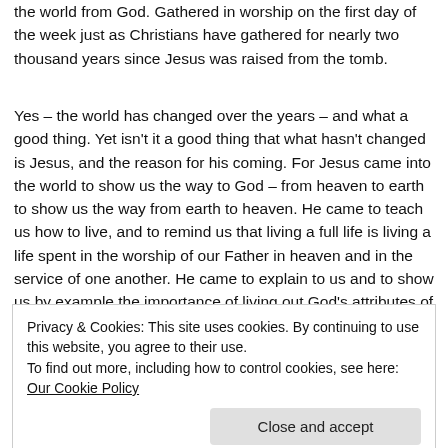the world from God. Gathered in worship on the first day of the week just as Christians have gathered for nearly two thousand years since Jesus was raised from the tomb.
Yes – the world has changed over the years – and what a good thing. Yet isn't it a good thing that what hasn't changed is Jesus, and the reason for his coming. For Jesus came into the world to show us the way to God – from heaven to earth to show us the way from earth to heaven. He came to teach us how to live, and to remind us that living a full life is living a life spent in the worship of our Father in heaven and in the service of one another. He came to explain to us and to show us by example the importance of living out God's attributes of love and peace: of equality for all and justice for all; of care for the sick
Privacy & Cookies: This site uses cookies. By continuing to use this website, you agree to their use.
To find out more, including how to control cookies, see here: Our Cookie Policy
This Church has stood for a hundred and thirty years as a